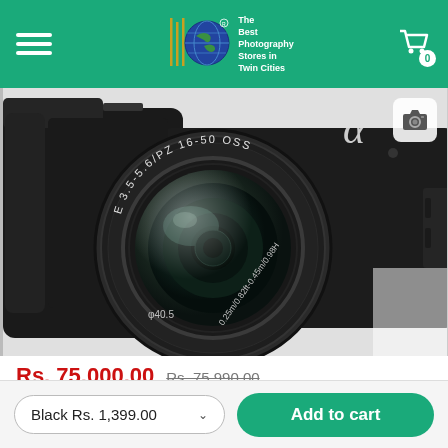[Figure (logo): Photography store logo with globe icon and text 'The Best Photography Stores in Twin Cities']
[Figure (photo): Sony Alpha mirrorless camera with E 3.5-5.6/PZ 16-50 OSS lens, black body, close-up front view]
Rs. 75,000.00  Rs. 75,990.00
Black Rs. 1,399.00
Add to cart